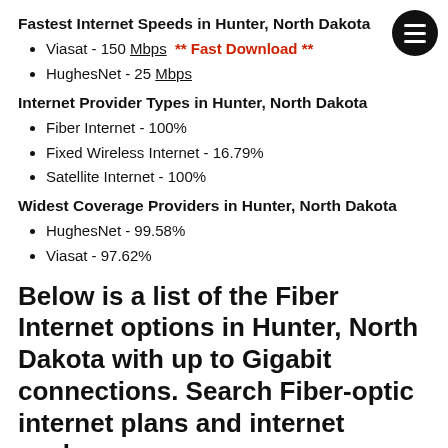Fastest Internet Speeds in Hunter, North Dakota
Viasat - 150 Mbps  ** Fast Download **
HughesNet - 25 Mbps
Internet Provider Types in Hunter, North Dakota
Fiber Internet - 100%
Fixed Wireless Internet - 16.79%
Satellite Internet - 100%
Widest Coverage Providers in Hunter, North Dakota
HughesNet - 99.58%
Viasat - 97.62%
Below is a list of the Fiber Internet options in Hunter, North Dakota with up to Gigabit connections. Search Fiber-optic internet plans and internet packages.